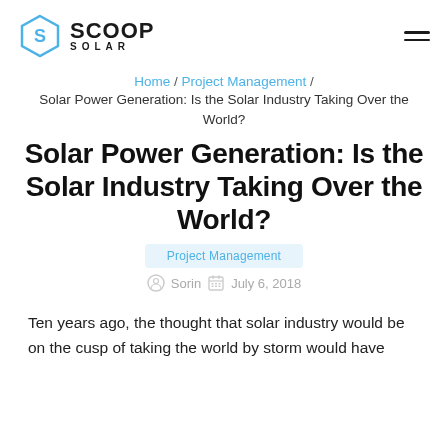[Figure (logo): Scoop Solar logo with hexagonal S icon and text SCOOP SOLAR]
Home / Project Management /
Solar Power Generation: Is the Solar Industry Taking Over the World?
Solar Power Generation: Is the Solar Industry Taking Over the World?
Project Management
Sorin  July 6, 2018
Ten years ago, the thought that solar industry would be on the cusp of taking the world by storm would have